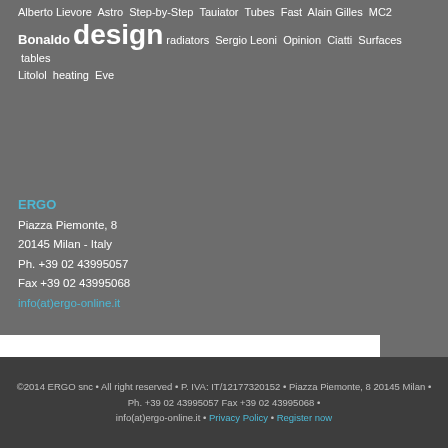Alberto Lievore Astro Step-by-Step Tauiator Tubes Fast Alain Gilles MC2 Bonaldo design radiators Sergio Leoni Opinion Ciatti Surfaces tables Litolol heating Eve
ERGO
Piazza Piemonte, 8
20145 Milan - Italy
Ph. +39 02 43995057
Fax +39 02 43995068
info(at)ergo-online.it
©2014 ERGO snc • All right reserved • P. IVA: IT/12177320152 • Piazza Piemonte, 8 20145 Milan • Ph. +39 02 43995057 Fax +39 02 43995068 • info(at)ergo-online.it • Privacy Policy • Register now